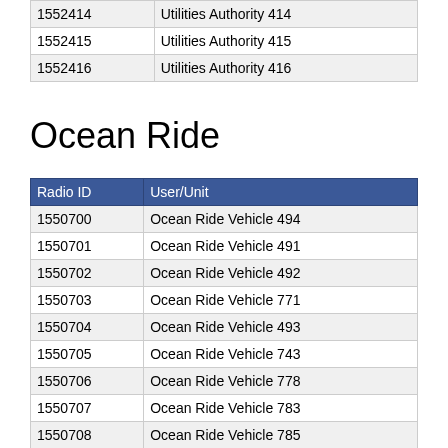| 1552414 | Utilities Authority 414 |
| 1552415 | Utilities Authority 415 |
| 1552416 | Utilities Authority 416 |
Ocean Ride
| Radio ID | User/Unit |
| --- | --- |
| 1550700 | Ocean Ride Vehicle 494 |
| 1550701 | Ocean Ride Vehicle 491 |
| 1550702 | Ocean Ride Vehicle 492 |
| 1550703 | Ocean Ride Vehicle 771 |
| 1550704 | Ocean Ride Vehicle 493 |
| 1550705 | Ocean Ride Vehicle 743 |
| 1550706 | Ocean Ride Vehicle 778 |
| 1550707 | Ocean Ride Vehicle 783 |
| 1550708 | Ocean Ride Vehicle 785 |
| 1550709 | Ocean Ride Vehicle 705 |
| 1550710 | Ocean Ride Vehicle 758 |
| 1550711 | Ocean Ride Vehicle 722 |
| 1550712 | Ocean Ride Vehicle 755 |
| 1550713 | Ocean Ride Vehicle 776 |
| 1550714 | Ocean Ride Vehicle 731 |
| 1550715 | Ocean Ride Vehicle 730 |
| 1550716 | Ocean Ride Vehicle 766 |
| 1550717 | Ocean Ride Vehicle 7?? |